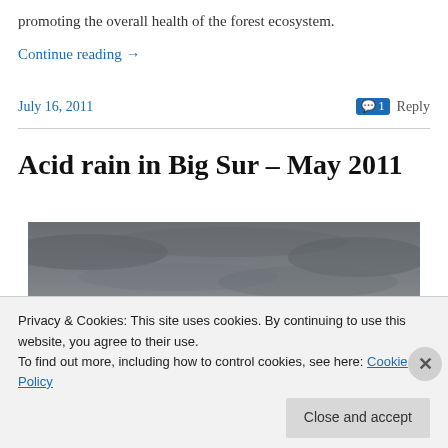promoting the overall health of the forest ecosystem.
Continue reading →
July 16, 2011
1 Reply
Acid rain in Big Sur – May 2011
[Figure (photo): Dark overcast cloudy sky photograph]
Privacy & Cookies: This site uses cookies. By continuing to use this website, you agree to their use.
To find out more, including how to control cookies, see here: Cookie Policy
Close and accept